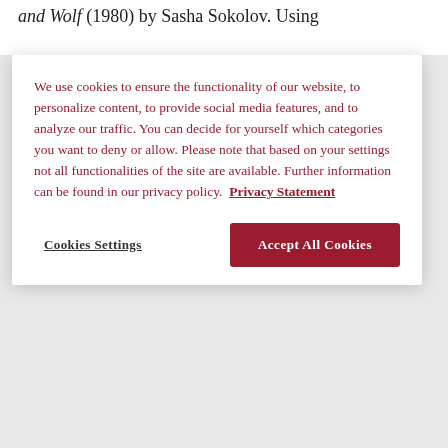and Wolf (1980) by Sasha Sokolov. Using
We use cookies to ensure the functionality of our website, to personalize content, to provide social media features, and to analyze our traffic. You can decide for yourself which categories you want to deny or allow. Please note that based on your settings not all functionalities of the site are available. Further information can be found in our privacy policy.  Privacy Statement
Cookies Settings
Accept All Cookies
ISBN:  0090 0290
Erscheinungstermin Print:  03 Nov 2021
Band/Ausgabe:  Band 55: Ausgabe 3-4
Роман-заговор Саши Соколова Между собакой и волком
Autorin:  Zlata Kocić